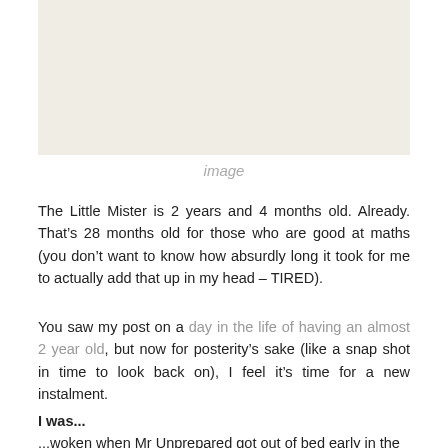[Figure (photo): Placeholder image box with light beige background]
image
The Little Mister is 2 years and 4 months old. Already. That’s 28 months old for those who are good at maths (you don’t want to know how absurdly long it took for me to actually add that up in my head – TIRED).
You saw my post on a day in the life of having an almost 2 year old, but now for posterity’s sake (like a snap shot in time to look back on), I feel it’s time for a new instalment.
I was...
...woken when Mr Unprepared got out of bed early in the